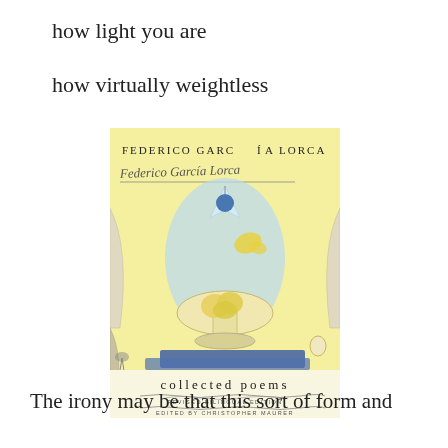how light you are
how virtually weightless
[Figure (photo): Book cover of 'Collected Poems' by Federico García Lorca, Revised Bilingual Edition, edited by Christopher Maurer. The cover features a yellow background with a sketch/drawing of a decorative vase with fruit and a blue ornament hanging above. The author's name appears in print at top and in handwritten script below it.]
The irony may be that this sort of form and